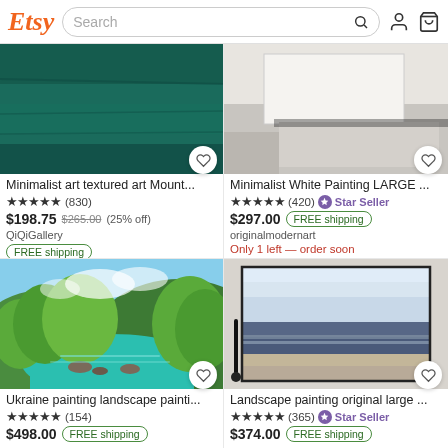Etsy Search
[Figure (screenshot): Etsy product listing - Minimalist art textured art Mount... teal painting thumbnail]
Minimalist art textured art Mount...
★★★★★ (830)
$198.75 $265.00 (25% off)
QiQiGallery
FREE shipping
[Figure (screenshot): Etsy product listing - Minimalist White Painting LARGE ... white sofa room thumbnail]
Minimalist White Painting LARGE ...
★★★★★ (420) ⭐ Star Seller
$297.00 FREE shipping
originalmodernart
Only 1 left — order soon
[Figure (illustration): Ukraine painting landscape painting - colorful river landscape with green trees and turquoise water]
Ukraine painting landscape painti...
★★★★★ (154)
$498.00 FREE shipping
[Figure (illustration): Landscape painting original large - abstract seascape/ocean painting with dark framing]
Landscape painting original large ...
★★★★★ (365) ⭐ Star Seller
$374.00 FREE shipping